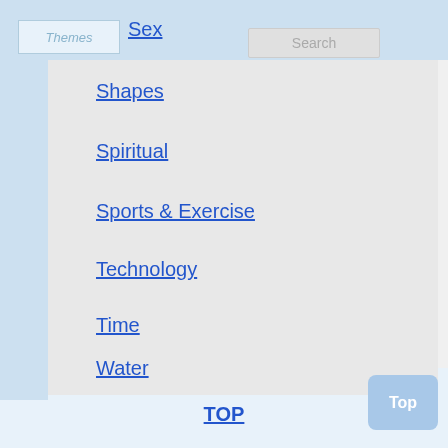Sex
Shapes
Spiritual
Sports & Exercise
Technology
Time
Water
Weapons
Websites
TOP